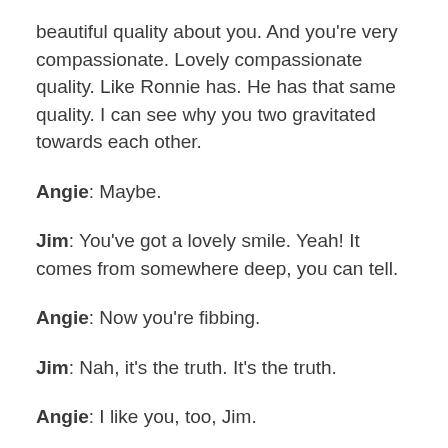beautiful quality about you. And you're very compassionate. Lovely compassionate quality. Like Ronnie has. He has that same quality. I can see why you two gravitated towards each other.
Angie: Maybe.
Jim: You've got a lovely smile. Yeah! It comes from somewhere deep, you can tell.
Angie: Now you're fibbing.
Jim: Nah, it's the truth. It's the truth.
Angie: I like you, too, Jim.